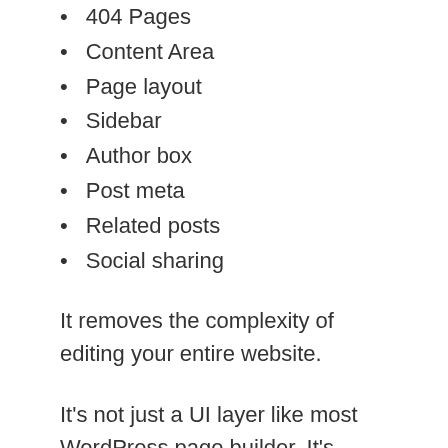404 Pages
Content Area
Page layout
Sidebar
Author box
Post meta
Related posts
Social sharing
It removes the complexity of editing your entire website.
It's not just a UI layer like most WordPress page builder. It's kinda like Thrive Architect. As you know